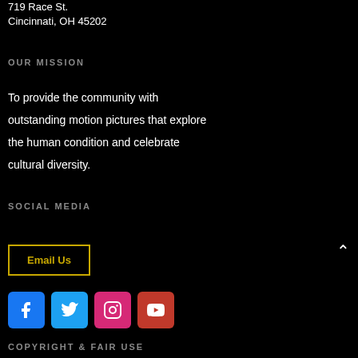719 Race St.
Cincinnati, OH 45202
OUR MISSION
To provide the community with outstanding motion pictures that explore the human condition and celebrate cultural diversity.
SOCIAL MEDIA
Email Us
[Figure (illustration): Social media icon buttons: Facebook (blue), Twitter (light blue), Instagram (pink/magenta), YouTube (red)]
COPYRIGHT & FAIR USE